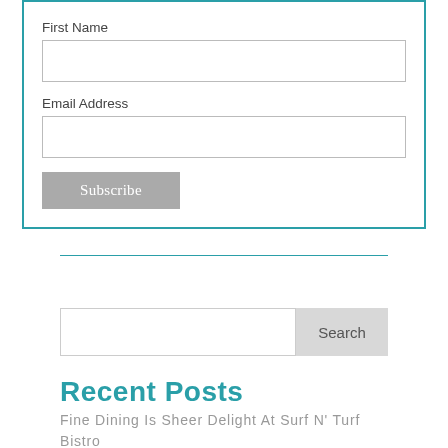First Name
Email Address
Subscribe
Search
Recent Posts
Fine Dining Is Sheer Delight At Surf N' Turf Bistro